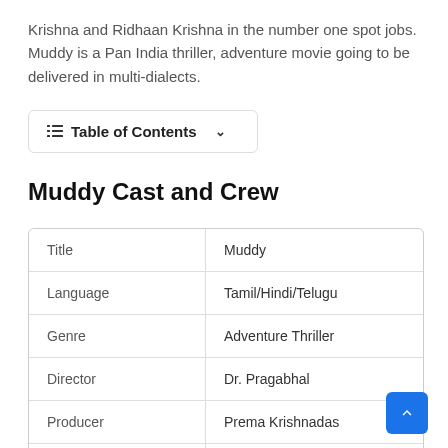Krishna and Ridhaan Krishna in the number one spot jobs. Muddy is a Pan India thriller, adventure movie going to be delivered in multi-dialects.
☰ Table of Contents ∨
Muddy Cast and Crew
| Title | Muddy |
| Language | Tamil/Hindi/Telugu |
| Genre | Adventure Thriller |
| Director | Dr. Pragabhal |
| Producer | Prema Krishnadas |
| Star Cast | Yuvan Krishna, Ridhaan Krishna |